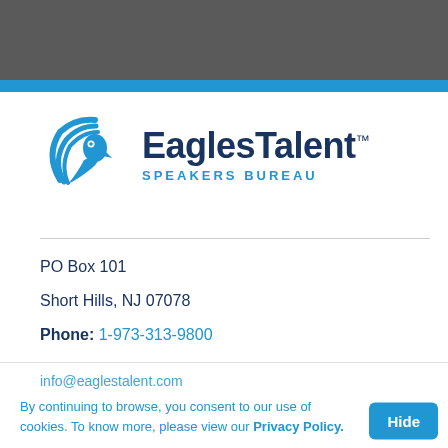[Figure (logo): EaglesTalent Speakers Bureau logo with stylized eagle icon in blue and the text EaglesTalent with trademark symbol and SPEAKERS BUREAU below]
PO Box 101
Short Hills, NJ 07078
Phone: 1-973-313-9800
Email for general inquiries:
info@eaglestalent.com
By continuing to browse, you consent to our use of cookies. To know more, please view our Privacy Policy.